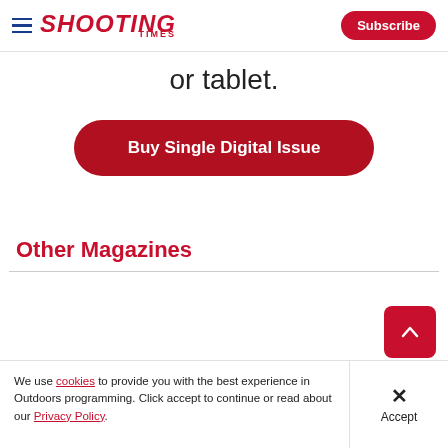Shooting Times | Subscribe
or tablet.
Buy Single Digital Issue
Other Magazines
We use cookies to provide you with the best experience in Outdoors programming. Click accept to continue or read about our Privacy Policy.